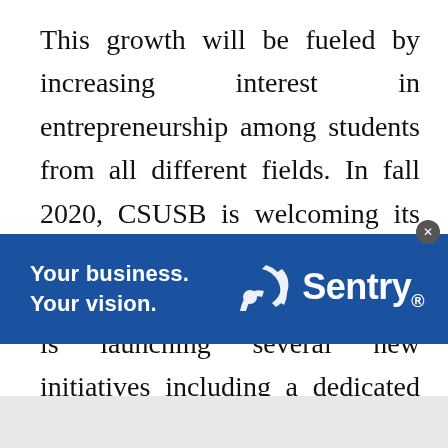This growth will be fueled by increasing interest in entrepreneurship among students from all different fields. In fall 2020, CSUSB is welcoming its largest ever freshman class in entrepreneurship, and the school is launching several new initiatives including a dedicated graduate degree in Entrepreneurship and Innovation, collaborative entrepreneurship academic programs with Art, Liberal Studies
[Figure (other): Advertisement banner for Sentry with blue background. Left side reads 'Your business. Your vision.' in white bold text. Right side shows the Sentry logo with stylized icon and 'Sentry' text in white.]